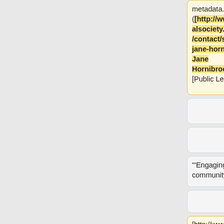metadata. ([http://www.royalsociety.org.nz/contact/staff/?jane-hornibrook Jane Hornibrook] [Public Lead])
metadata. (Matt McGregor [Public Lead])
"'Engaging the community"'
"'Engaging the community"'
[http://www.meetup.com/Creative-Commons-Wellington/Public Meetups] will continue to be held in 2012
[http://www.meetup.com/Creative-Commons-Wellington/Public Meetups] will continue to be held in 2012